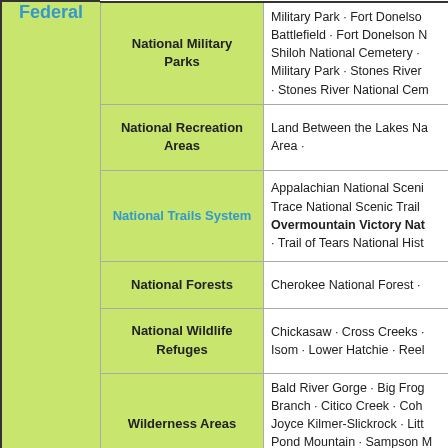|  | Category | Examples |
| --- | --- | --- |
| Federal | National Military Parks | Military Park · Fort Donelson Battlefield · Fort Donelson National Cemetery · Shiloh National Military Park · Stones River · Stones River National Cemetery |
|  | National Recreation Areas | Land Between the Lakes National Recreation Area · |
|  | National Trails System | Appalachian National Scenic Trail · Trace National Scenic Trail · Overmountain Victory National Historic Trail · Trail of Tears National Historic Trail |
|  | National Forests | Cherokee National Forest · |
|  | National Wildlife Refuges | Chickasaw · Cross Creeks · Isom · Lower Hatchie · Reelfoot |
|  | Wilderness Areas | Bald River Gorge · Big Frog · Branch · Citico Creek · Cohutta · Joyce Kilmer-Slickrock · Little Pond Mountain · Sampson Mountain · |
|  | Other Protected Areas | Big South Fork National River Area · Foothills Parkway · G... |